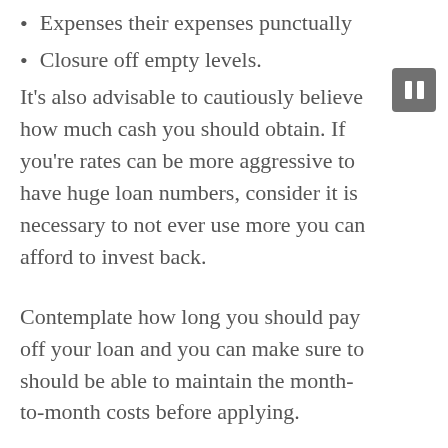Expenses their expenses punctually
Closure off empty levels.
It's also advisable to cautiously believe how much cash you should obtain. If you're rates can be more aggressive to have huge loan numbers, consider it is necessary to not ever use more you can afford to invest back.
Contemplate how long you should pay off your loan and you can make sure to should be able to maintain the month-to-month costs before applying.
Should you decide alter your mind after you have started recognized for a beneficial loan, you have an